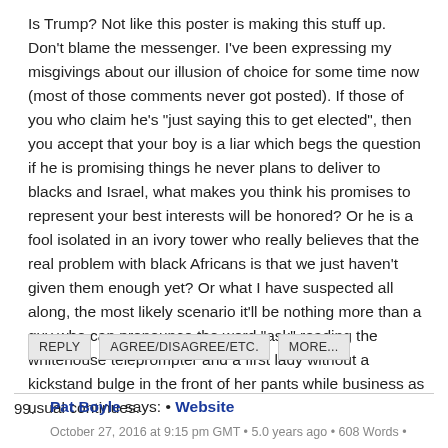Is Trump? Not like this poster is making this stuff up. Don't blame the messenger. I've been expressing my misgivings about our illusion of choice for some time now (most of those comments never got posted). If those of you who claim he's "just saying this to get elected", then you accept that your boy is a liar which begs the question if he is promising things he never plans to deliver to blacks and Israel, what makes you think his promises to represent your best interests will be honored? Or he is a fool isolated in an ivory tower who really believes that the real problem with black Africans is that we just haven't given them enough yet? Or what I have suspected all along, the most likely scenario it'll be nothing more than a guy who can pronounce the word "ask" reading the whitehouse teleprompter and a first lady without a kickstand bulge in the front of her pants while business as usual continues.
REPLY   AGREE/DISAGREE/ETC.   MORE...
99.   Pat Boyle says: • Website
October 27, 2016 at 9:15 pm GMT • 5.0 years ago • 608 Words •